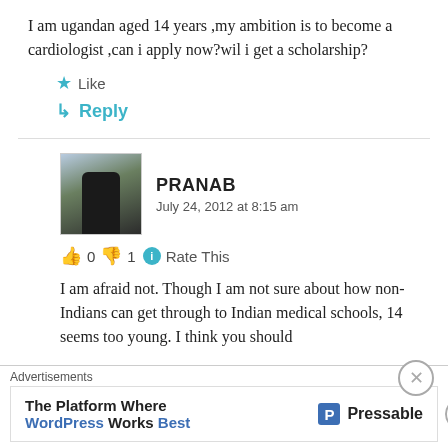I am ugandan aged 14 years ,my ambition is to become a cardiologist ,can i apply now?wil i get a scholarship?
★ Like
↳ Reply
PRANAB
July 24, 2012 at 8:15 am
👍 0 👎 1 ℹ Rate This
I am afraid not. Though I am not sure about how non-Indians can get through to Indian medical schools, 14 seems too young. I think you should
Advertisements
The Platform Where WordPress Works Best  Pressable